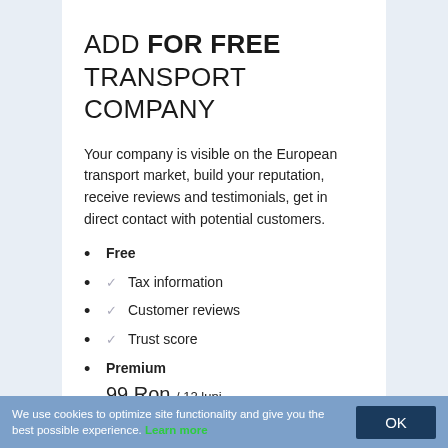ADD FOR FREE TRANSPORT COMPANY
Your company is visible on the European transport market, build your reputation, receive reviews and testimonials, get in direct contact with potential customers.
Free
✓ Tax information
✓ Customer reviews
✓ Trust score
Premium 99 Ron / 12 luni
✓ Manage reviews
✓ Manage ratings
We use cookies to optimize site functionality and give you the best possible experience. Learn more OK